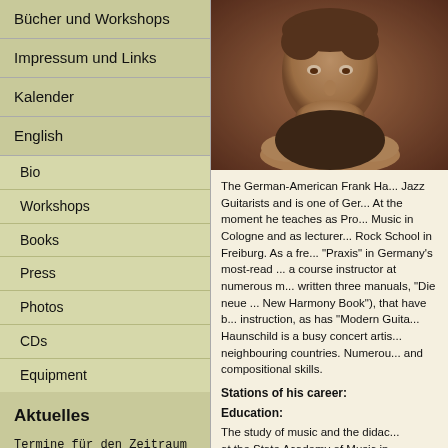Bücher und Workshops
Impressum und Links
Kalender
English
Bio
Workshops
Books
Press
Photos
CDs
Equipment
Aktuelles
Termine für den Zeitraum Juli 2022 bis Oktober 2022
[Figure (photo): Portrait photo of Frank Haunschild, a man resting his chin on his hands, sepia-toned]
The German-American Frank Ha... Jazz Guitarists and is one of Ger... At the moment he teaches as Pro... Music in Cologne and as lecturer... Rock School in Freiburg. As a fre... "Praxis" in Germany's most-read ... a course instructor at numerous m... written three manuals, "Die neue ... New Harmony Book"), that have b... instruction, as has "Modern Guita... Haunschild is a busy concert artis... neighbouring countries. Numerou... and compositional skills.
Stations of his career:
Education:
The study of music and the didac... at the State Academy of Music in...